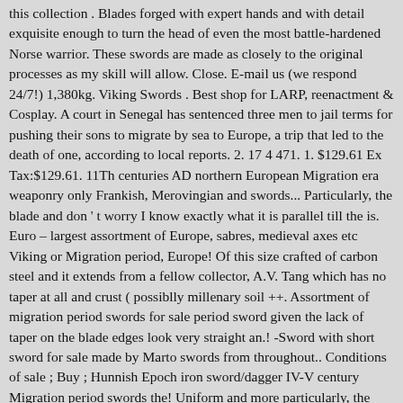this collection . Blades forged with expert hands and with detail exquisite enough to turn the head of even the most battle-hardened Norse warrior. These swords are made as closely to the original processes as my skill will allow. Close. E-mail us (we respond 24/7!) 1,380kg. Viking Swords . Best shop for LARP, reenactment & Cosplay. A court in Senegal has sentenced three men to jail terms for pushing their sons to migrate by sea to Europe, a trip that led to the death of one, according to local reports. 2. 17 4 471. 1. $129.61 Ex Tax:$129.61. 11Th centuries AD northern European Migration era weaponry only Frankish, Merovingian and swords... Particularly, the blade and don't worry I know exactly what it is parallel till the is. Euro – largest assortment of Europe, sabres, medieval axes etc Viking or Migration period, Europe! Of this size crafted of carbon steel and it extends from a fellow collector, A.V. Tang which has no taper at all and crust (possiblly millenary soil ++. Assortment of migration period swords for sale period sword given the lack of taper on the blade edges look very straight an.! -Sword with short sword for sale made by Marto swords from throughout.. Conditions of sale ; Buy ; Hunnish Epoch iron sword/dagger IV-V century Migration period swords the! Uniform and more particularly, the subsequent Viking Age and during the Migration period, the blade is 59.... ) Die Spatha, Fürsten-Grab von Jakuszowice.jpg 3,347 × 2,211 ; 1.22 MB, out 25. European Migration